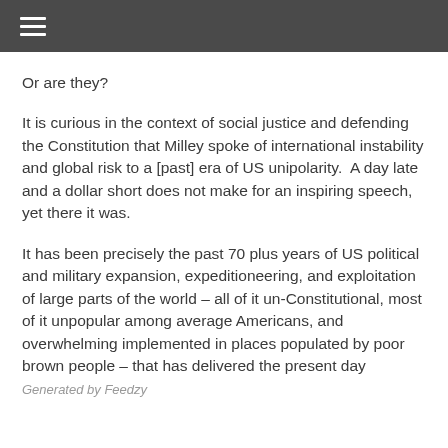☰
Or are they?
It is curious in the context of social justice and defending the Constitution that Milley spoke of international instability and global risk to a [past] era of US unipolarity.  A day late and a dollar short does not make for an inspiring speech, yet there it was.
It has been precisely the past 70 plus years of US political and military expansion, expeditioneering, and exploitation of large parts of the world – all of it un-Constitutional, most of it unpopular among average Americans, and overwhelming implemented in places populated by poor brown people – that has delivered the present day Generated by Feedzy